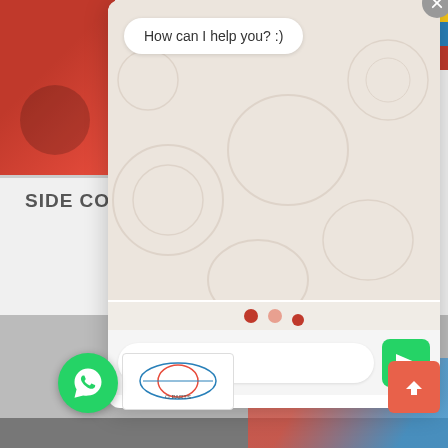[Figure (screenshot): WhatsApp chat widget popup overlaying a website with product images. The popup shows a chat area with WhatsApp pattern background, a speech bubble saying 'How can I help you? :)', three dot indicators, a text input field, and a green send button. Behind the popup is a website with red product images on the left, 'SIDE CO...' section header text, a WhatsApp icon, a logo badge, and a scroll-to-top button.]
SIDE CO
How can I help you? :)